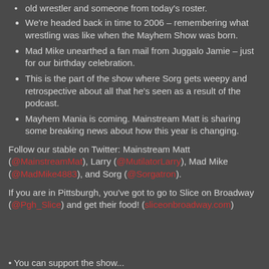old wrestler and someone from today's roster.
We're headed back in time to 2006 – remembering what wrestling was like when the Mayhem Show was born.
Mad Mike unearthed a fan mail from Juggalo Jamie – just for our birthday celebration.
This is the part of the show where Sorg gets weepy and retrospective about all that he's seen as a result of the podcast.
Mayhem Mania is coming. Mainstream Matt is sharing some breaking news about how this year is changing.
Follow our stable on Twitter: Mainstream Matt (@MainstreamMat), Larry (@MutilatorLarry), Mad Mike (@MadMike4883), and Sorg (@Sorgatron).
If you are in Pittsburgh, you've got to go to Slice on Broadway (@Pgh_Slice) and get their food! (sliceonbroadway.com)
• You can support the show...